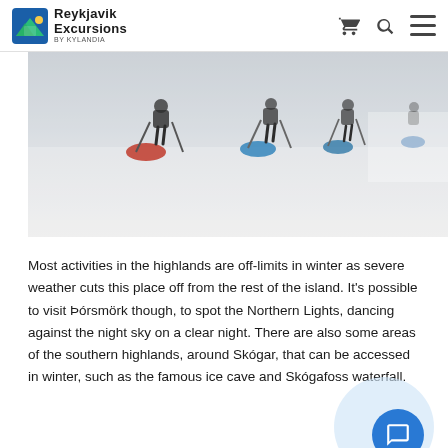Reykjavik Excursions by Kylandia
[Figure (photo): People skiing or hiking on a snow-covered highland plateau, dragging sleds with colourful gear, in misty winter conditions.]
Most activities in the highlands are off-limits in winter as severe weather cuts this place off from the rest of the island. It's possible to visit Þórsmörk though, to spot the Northern Lights, dancing against the night sky on a clear night. There are also some areas of the southern highlands, around Skógar, that can be accessed in winter, such as the famous ice cave and Skógafoss waterfall.